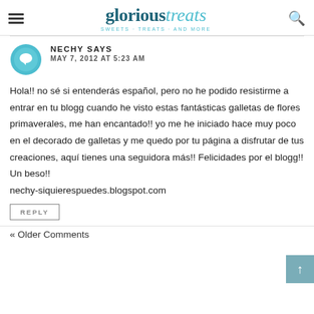glorious treats — SWEETS · TREATS · AND MORE
NECHY SAYS
MAY 7, 2012 AT 5:23 AM
Hola!! no sé si entenderás español, pero no he podido resistirme a entrar en tu blogg cuando he visto estas fantásticas galletas de flores primaverales, me han encantado!! yo me he iniciado hace muy poco en el decorado de galletas y me quedo por tu página a disfrutar de tus creaciones, aquí tienes una seguidora más!! Felicidades por el blogg!!
Un beso!!
nechy-siquierespuedes.blogspot.com
REPLY
« Older Comments